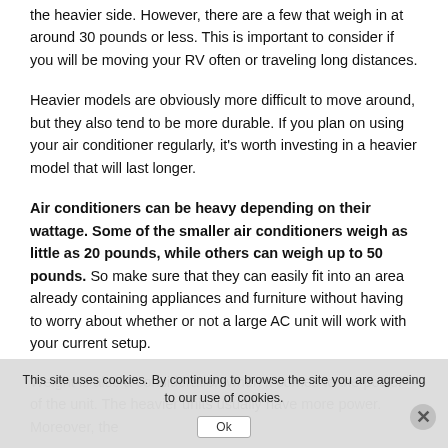the heavier side. However, there are a few that weigh in at around 30 pounds or less. This is important to consider if you will be moving your RV often or traveling long distances.
Heavier models are obviously more difficult to move around, but they also tend to be more durable. If you plan on using your air conditioner regularly, it's worth investing in a heavier model that will last longer.
Air conditioners can be heavy depending on their wattage. Some of the smaller air conditioners weigh as little as 20 pounds, while others can weigh up to 50 pounds. So make sure that they can easily fit into an area already containing appliances and furniture without having to worry about whether or not a large AC unit will work with your current setup.
Weight is also a consideration when it comes to the power of the unit. The heavier units usually have more power. Moreover, the
This site uses cookies. By continuing to browse the site you are agreeing to our use of cookies.